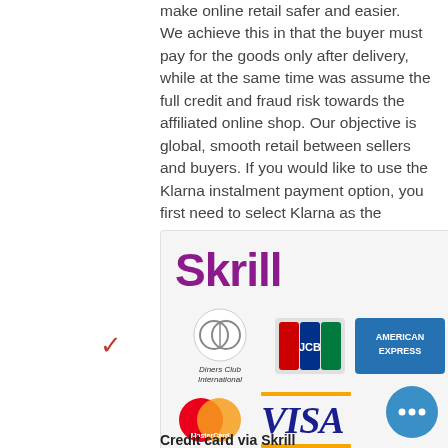make online retail safer and easier. We achieve this in that the buyer must pay for the goods only after delivery, while at the same time was assume the full credit and fraud risk towards the affiliated online shop. Our objective is global, smooth retail between sellers and buyers. If you would like to use the Klarna instalment payment option, you first need to select Klarna as the payment method and then Klarna's instalment payment is offered to you in the second step.
[Figure (logo): Skrill payment logo with Diners Club International, JCB, American Express, MasterCard, and Visa card logos on a light grey background. A red checkmark appears to the left of the box.]
Credit card via Skrill